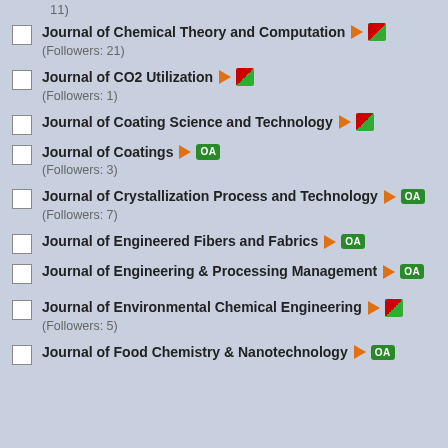Journal of Chemical Theory and Computation (Followers: 21)
Journal of CO2 Utilization (Followers: 1)
Journal of Coating Science and Technology
Journal of Coatings (Followers: 3)
Journal of Crystallization Process and Technology (Followers: 7)
Journal of Engineered Fibers and Fabrics
Journal of Engineering & Processing Management
Journal of Environmental Chemical Engineering (Followers: 5)
Journal of Food Chemistry & Nanotechnology
Synthesis of quate... good thermal prope...
Free pre-print v
Authors: Lu Zhao, X... Abstract: High Perf... Novel fluorine-contai... biphenyltetracarboxy... (BPADA) as dianhydr... hexafluoropropanane... the polyimide good t... films are 232.5°C~2... more than 50% as he... the material decreas... which greatly improv... Citation: High Perfo... PubDate: 2022-06-0... DOI: 10.1177/09540...
Recent advances i...
Free pre-print v
Authors: Shuaiqiang... Abstract: High Perf... Polymer matrix comp... dissipation capacity o... the last few decades... Advances in the ther... thermally conductiv...